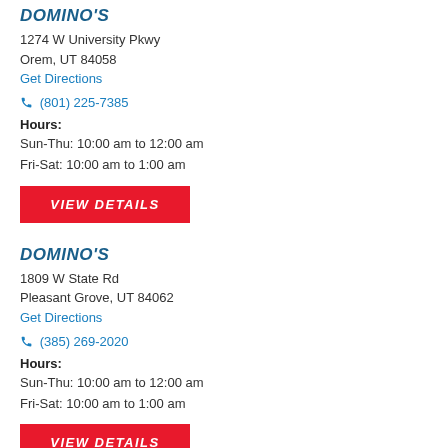DOMINO'S
1274 W University Pkwy
Orem, UT 84058
Get Directions
(801) 225-7385
Hours:
Sun-Thu: 10:00 am to 12:00 am
Fri-Sat: 10:00 am to 1:00 am
VIEW DETAILS
DOMINO'S
1809 W State Rd
Pleasant Grove, UT 84062
Get Directions
(385) 269-2020
Hours:
Sun-Thu: 10:00 am to 12:00 am
Fri-Sat: 10:00 am to 1:00 am
VIEW DETAILS